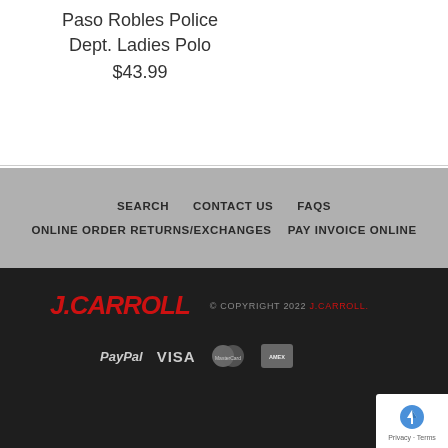Paso Robles Police Dept. Ladies Polo
$43.99
SEARCH   CONTACT US   FAQS   ONLINE ORDER RETURNS/EXCHANGES   PAY INVOICE ONLINE
J.CARROLL  © COPYRIGHT 2022 J.CARROLL.  PayPal VISA MasterCard American Express